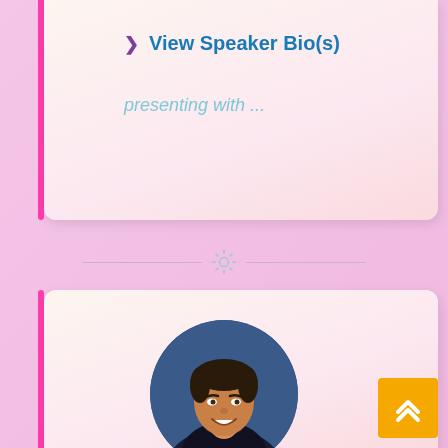❯ View Speaker Bio(s)
presenting with ...
[Figure (photo): Circular profile photo of a smiling man with dark hair, wearing a dark shirt, against a blue background]
[Figure (other): Orange scroll-to-top button with double upward chevron arrows]